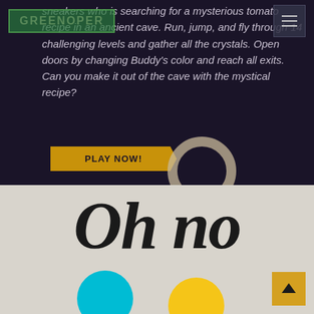GREENOPER (logo) | hamburger menu
sneakers who is searching for a mysterious tomato recipe in an ancient cave. Run, jump, and fly through 14 challenging levels and gather all the crystals. Open doors by changing Buddy's color and reach all exits. Can you make it out of the cave with the mystical recipe?
PLAY NOW!
[Figure (illustration): A beige/tan hollow circle ring decorative element on dark background]
Oh no
[Figure (illustration): Cyan circle partially visible at bottom left and yellow circle partially visible at bottom right on light gray background]